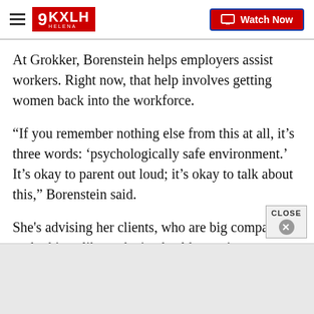9KXLH Helena | Watch Now
At Grokker, Borenstein helps employers assist workers. Right now, that help involves getting women back into the workforce.
“If you remember nothing else from this at all, it’s three words: ‘psychologically safe environment.’ It’s okay to parent out loud; it’s okay to talk about this,” Borenstein said.
She's advising her clients, who are big companies, to do things like make it a healthy environment, shift schedules around and be accommodating.